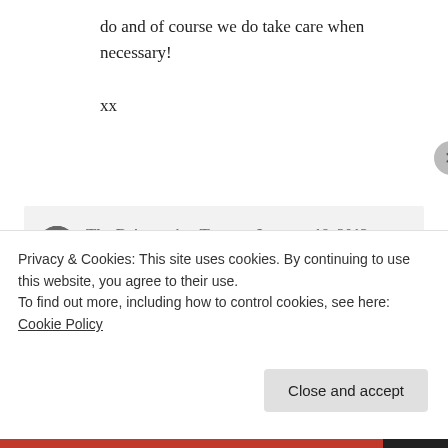do and of course we do take care when necessary!

xx
↳ Reply
The Reinvention Tour on January 18, 2012 at 10:09 am
Hi Maggie
Privacy & Cookies: This site uses cookies. By continuing to use this website, you agree to their use.
To find out more, including how to control cookies, see here: Cookie Policy
Close and accept